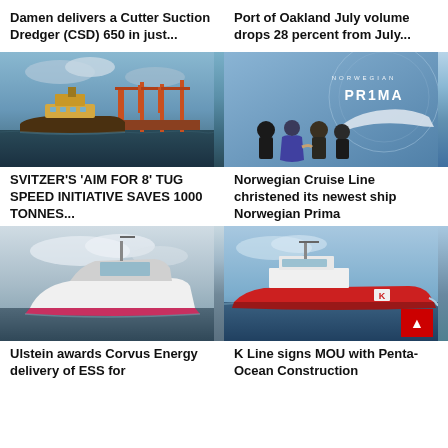Damen delivers a Cutter Suction Dredger (CSD) 650 in just...
Port of Oakland July volume drops 28 percent from July...
[Figure (photo): A tugboat sailing at sea with large red port cranes visible in the background under cloudy skies]
[Figure (photo): Norwegian Prima cruise ship christening ceremony with people in formal wear shaking hands, Norwegian Prima logo visible]
SVITZER'S 'AIM FOR 8' TUG SPEED INITIATIVE SAVES 1000 TONNES...
Norwegian Cruise Line christened its newest ship Norwegian Prima
[Figure (photo): A modern vessel concept rendering showing a large white ship at sea under cloudy sky]
[Figure (photo): A red offshore supply vessel underway at sea with a 'K' logo visible on the hull]
Ulstein awards Corvus Energy delivery of ESS for
K Line signs MOU with Penta-Ocean Construction